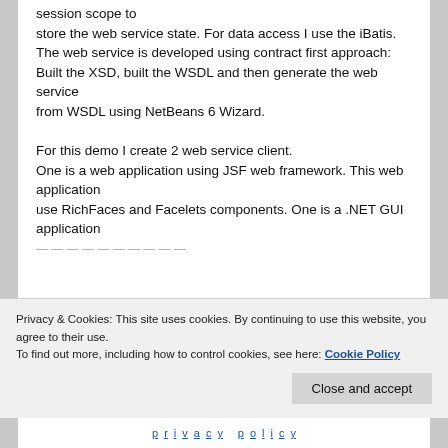session scope to store the web service state. For data access I use the iBatis. The web service is developed using contract first approach: Built the XSD, built the WSDL and then generate the web service from WSDL using NetBeans 6 Wizard.

For this demo I create 2 web service client. One is a web application using JSF web framework. This web application use RichFaces and Facelets components. One is a .NET GUI application
Privacy & Cookies: This site uses cookies. By continuing to use this website, you agree to their use. To find out more, including how to control cookies, see here: Cookie Policy